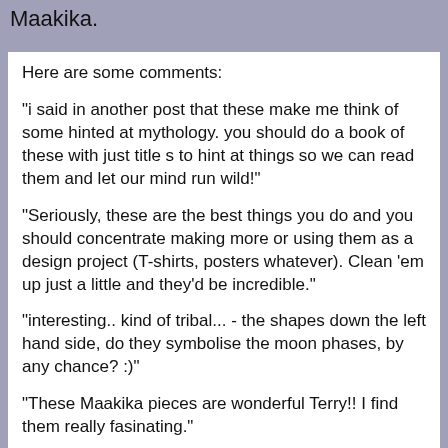Maakika.
Here are some comments:
"i said in another post that these make me think of some hinted at mythology. you should do a book of these with just title s to hint at things so we can read them and let our mind run wild!"
"Seriously, these are the best things you do and you should concentrate making more or using them as a design project (T-shirts, posters whatever). Clean 'em up just a little and they'd be incredible."
"interesting.. kind of tribal... - the shapes down the left hand side, do they symbolise the moon phases, by any chance? :)"
"These Maakika pieces are wonderful Terry!! I find them really fasinating."
"So charming! A real treasure!"